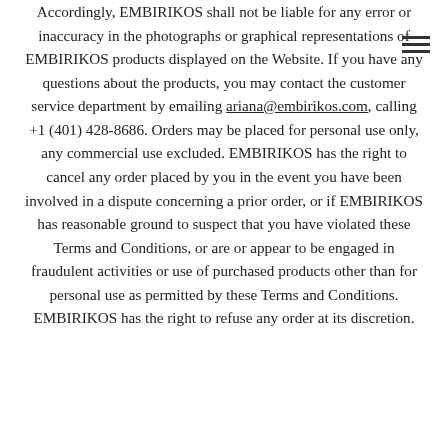Accordingly, EMBIRIKOS shall not be liable for any error or inaccuracy in the photographs or graphical representations of EMBIRIKOS products displayed on the Website. If you have any questions about the products, you may contact the customer service department by emailing ariana@embirikos.com, calling +1 (401) 428-8686. Orders may be placed for personal use only, any commercial use excluded. EMBIRIKOS has the right to cancel any order placed by you in the event you have been involved in a dispute concerning a prior order, or if EMBIRIKOS has reasonable ground to suspect that you have violated these Terms and Conditions, or are or appear to be engaged in fraudulent activities or use of purchased products other than for personal use as permitted by these Terms and Conditions. EMBIRIKOS has the right to refuse any order at its discretion.